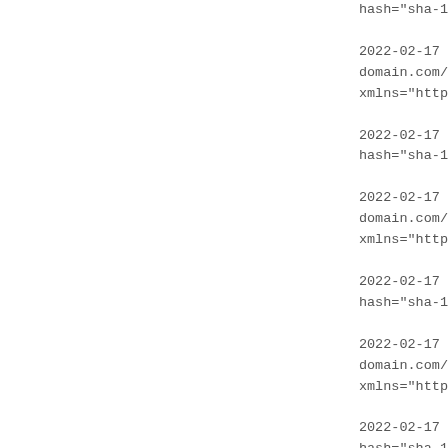hash="sha-1

2022-02-17
domain.com/
xmlns="http

2022-02-17
hash="sha-1

2022-02-17
domain.com/
xmlns="http

2022-02-17
hash="sha-1

2022-02-17
domain.com/
xmlns="http

2022-02-17
hash="sha-1

2022-02-17
domain.com/
xmlns="http